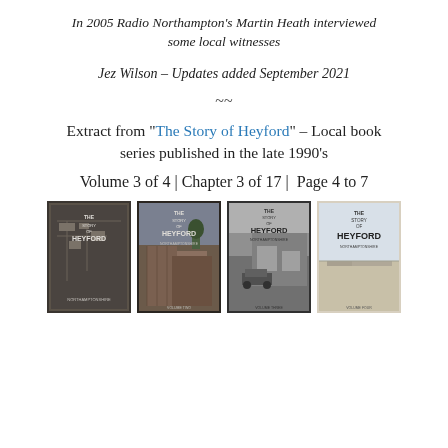In 2005 Radio Northampton's Martin Heath interviewed some local witnesses
Jez Wilson – Updates added September 2021
~~
Extract from "The Story of Heyford" – Local book series published in the late 1990's
Volume 3 of 4 | Chapter 3 of 17 | Page 4 to 7
[Figure (photo): Four book covers of 'The Story of Heyford, Northamptonshire' volumes 1 through 4, shown as black and white / sepia photographs. Volume 1 shows an aerial map view, Volume 2 shows traditional buildings, Volume 3 shows a street scene with a car, Volume 4 shows open land with buildings in background.]